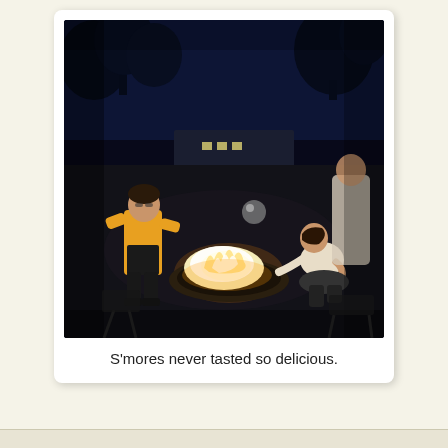[Figure (photo): Nighttime outdoor photo of people gathered around a fire pit with a glowing fire. A person in a yellow and black jacket stands on the left, another person crouches near the fire on the right, and a third person is partially visible in the background on the right. Trees and a building with lights are visible in the dark background. A reflective ball is visible in the mid-background.]
S'mores never tasted so delicious.